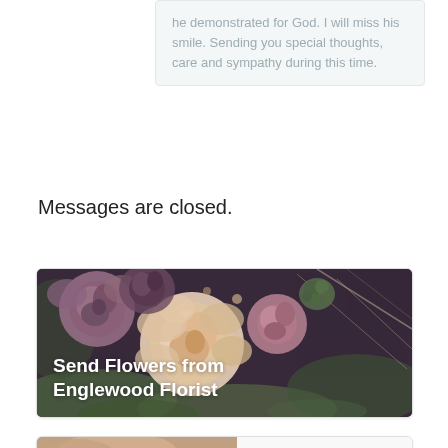he demonstrated for God. I will miss his smile. Sending you special thoughts, care and sympathy during this time.
Messages are closed.
[Figure (photo): A bouquet of flowers including roses in pink, mauve, and cream colors with greenery, with overlay text 'Send Flowers from Englewood Florist']
[Figure (photo): Partial view of a second card/image, appears to show hands]